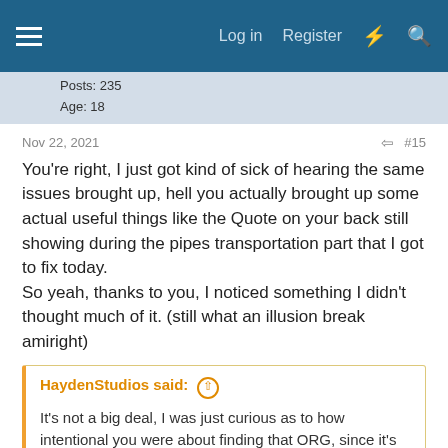Log in  Register
Posts: 235
Age: 18
Nov 22, 2021  #15
You're right, I just got kind of sick of hearing the same issues brought up, hell you actually brought up some actual useful things like the Quote on your back still showing during the pipes transportation part that I got to fix today.
So yeah, thanks to you, I noticed something I didn't thought much of it. (still what an illusion break amiright)
HaydenStudios said: ↑
It's not a big deal, I was just curious as to how intentional you were about finding that ORG, since it's uncommon for people to find old orgs like that buried beneath a bunch of posts that were made in a big thread like that years before they even joined. Just to be clear, I take it as a compliment more than anything that you found that ORG and liked it enough to want to use it in your own mod.
I discovered that org in the Org thread on the forums like three years ago. I remember scrolling in very old discussions and